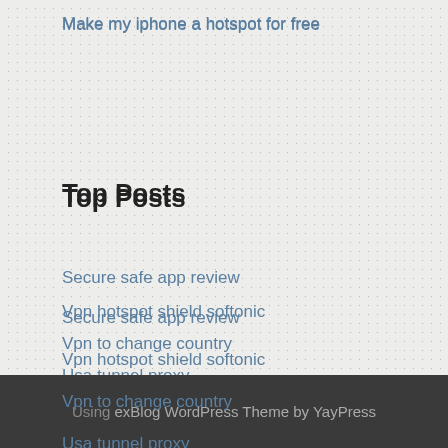Make my iphone a hotspot for free
Top Posts
Secure safe app review
Vpn hotspot shield softonic
Vpn to change country
Usa tunnel proxy
Network with 2 routers
Using exBlog WordPress Theme by YayPress